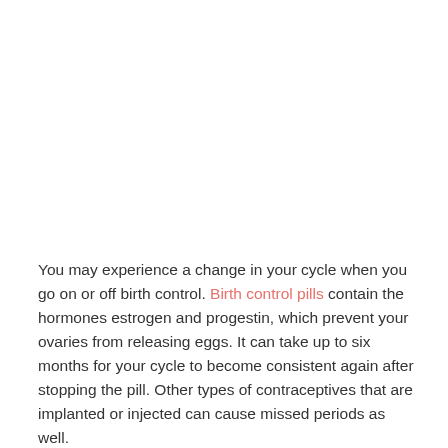You may experience a change in your cycle when you go on or off birth control. Birth control pills contain the hormones estrogen and progestin, which prevent your ovaries from releasing eggs. It can take up to six months for your cycle to become consistent again after stopping the pill. Other types of contraceptives that are implanted or injected can cause missed periods as well.